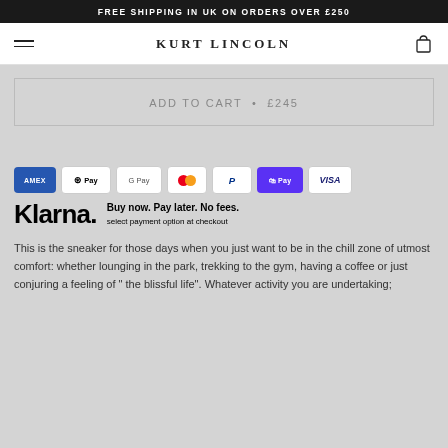FREE SHIPPING IN UK ON ORDERS OVER £250
KURT LINCOLN
ADD TO CART • £245
[Figure (infographic): Payment method logos: American Express (AMEX), Apple Pay, Google Pay, Mastercard, PayPal, Shop Pay, Visa, and Klarna with text 'Buy now. Pay later. No fees. select payment option at checkout']
This is the sneaker for those days when you just want to be in the chill zone of utmost comfort: whether lounging in the park, trekking to the gym, having a coffee or just conjuring a feeling of "the blissful life". Whatever activity you are undertaking;